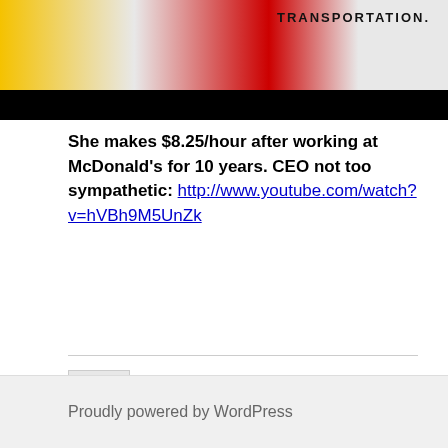[Figure (photo): Top portion of a webpage showing a cropped image with McDonald's employee in yellow and red uniform. Text 'TRANSPORTATION.' visible in upper right. Black bar below the image.]
She makes $8.25/hour after working at McDonald's for 10 years. CEO not too sympathetic: http://www.youtube.com/watch?v=hVBh9M5UnZk
← 3 Proudly powered by WordPress